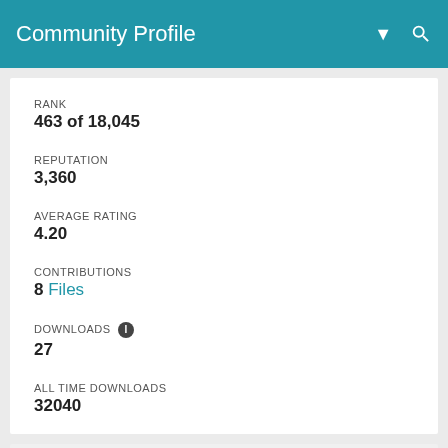Community Profile
RANK
463 of 18,045
REPUTATION
3,360
AVERAGE RATING
4.20
CONTRIBUTIONS
8 Files
DOWNLOADS
27
ALL TIME DOWNLOADS
32040
[Figure (illustration): Partial row of colorful hexagonal badge shapes (red, green, orange, teal, purple) visible at the bottom of the page]